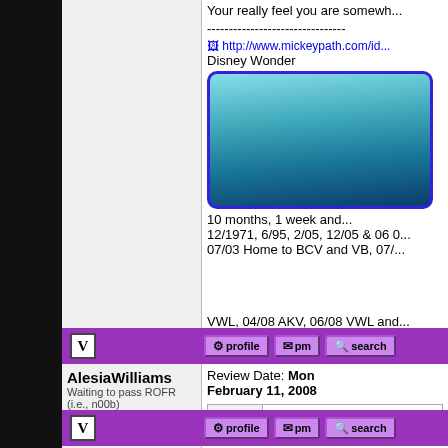Your really feel you are somewh...
--------------------------------
[Figure (other): Broken image link: http://www.mickeypath.com/id...]
Disney Wonder
[Figure (photo): Photo of Disney Wonder ship hull - blue/teal metallic surface]
10 months, 1 week and...
12/1971, 6/95, 2/05, 12/05 & 06 0... 07/03 Home to BCV and VB, 07/...
VWL, 04/08 AKV, 06/08 VWL and...
AlesiaWilliams
Waiting to pass ROFR (i.e., n00b)
Registered: January 2007
Posts: 3
Review Date: Mon February 11, 2008
|  |  |
| --- | --- |
| Pros: | quiet |
| Cons: | quiet |
We extended our trip at the last m... Villas. It was so peaceful and rela...